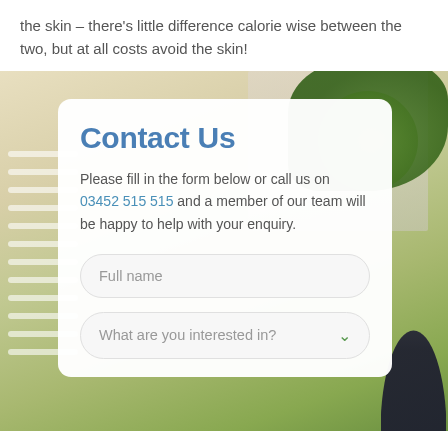the skin – there's little difference calorie wise between the two, but at all costs avoid the skin!
[Figure (photo): Outdoor urban scene with building and trees in background, contact form card overlaid on top]
Contact Us
Please fill in the form below or call us on 03452 515 515 and a member of our team will be happy to help with your enquiry.